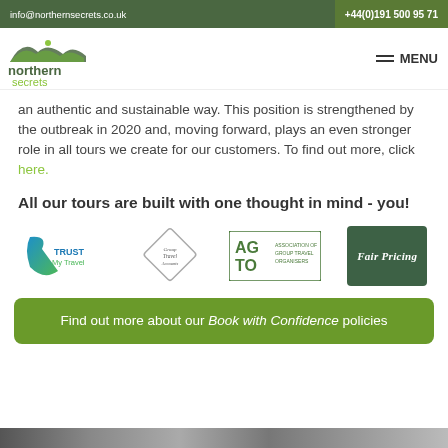info@northernsecrets.co.uk | +44(0)191 500 95 71
[Figure (logo): Northern Secrets logo with hills graphic]
an authentic and sustainable way. This position is strengthened by the outbreak in 2020 and, moving forward, plays an even stronger role in all tours we create for our customers. To find out more, click here.
All our tours are built with one thought in mind - you!
[Figure (logo): Four partner logos: Trust My Travel, Group Travel Accounts, AGTO Association of Group Travel Organisers, Fair Pricing]
Find out more about our Book with Confidence policies